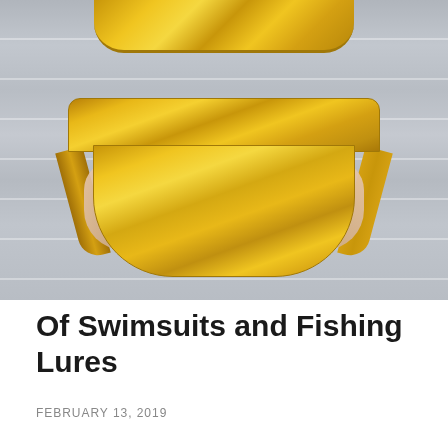[Figure (photo): Gold metallic bikini swimsuit (top partially visible at upper edge, bottom piece prominently displayed) laid flat on a light grey painted wooden plank surface]
Of Swimsuits and Fishing Lures
FEBRUARY 13, 2019